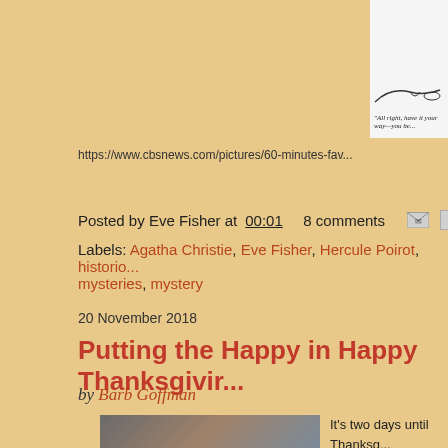[Figure (illustration): Partial view of a cartoon/comic strip image cropped at top. Bottom portion shows a cartoon caption in italic text: "All right, have it your way—you be..." (truncated). The image is in a white box on the right side.]
https://www.cbsnews.com/pictures/60-minutes-fav...
Posted by Eve Fisher at 00:01    8 comments
Labels: Agatha Christie, Eve Fisher, Hercule Poirot, historic... mysteries, mystery
20 November 2018
Putting the Happy in Happy Thanksgivir...
by Barb Goffman
[Figure (photo): Photo of a person (Barb Goffman) partially visible, with bookshelves in background]
It's two days until Thanksg... Maybe it's because you're...